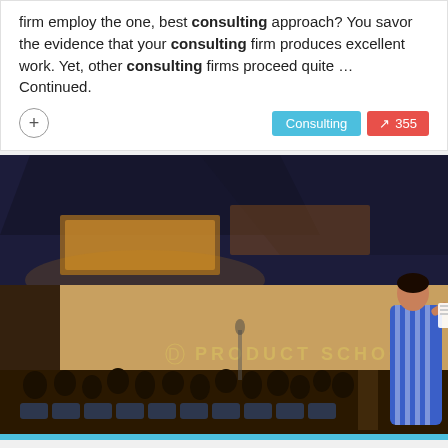firm employ the one, best consulting approach? You savor the evidence that your consulting firm produces excellent work. Yet, other consulting firms proceed quite … Continued.
[Figure (photo): A woman in a blue striped dress presenting papers to an audience in a large conference room. A 'Product School' logo is projected on the wall behind her. The room has ornate ceiling lighting and rows of seated attendees.]